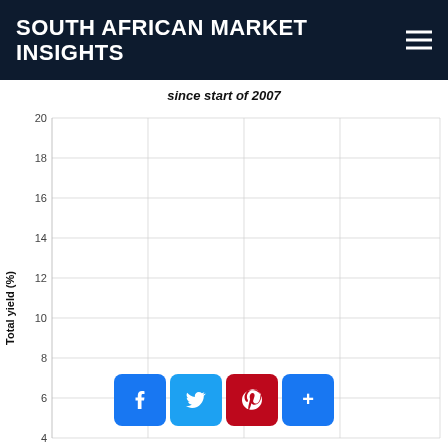SOUTH AFRICAN MARKET INSIGHTS
since start of 2007
[Figure (continuous-plot): Partial scatter/line chart showing Total yield (%) on y-axis (range ~4 to 20) with gridlines at 4, 6, 8, 10, 12, 14, 16, 18, 20. X-axis not fully visible. Chart title text 'since start of 2007' visible above. Social sharing buttons (Facebook, Twitter, Pinterest, Share) overlay the bottom portion of the chart.]